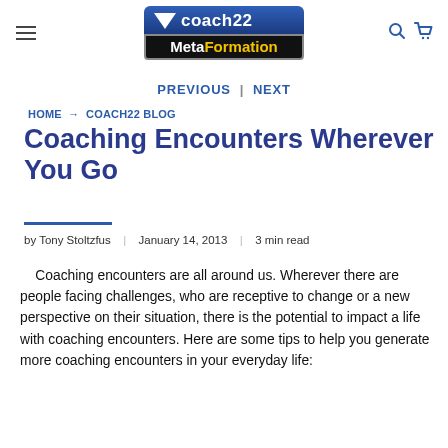coach22 MetaFormation logo and navigation
PREVIOUS | NEXT
HOME → COACH22 BLOG
Coaching Encounters Wherever You Go
by Tony Stoltzfus | January 14, 2013 | 3 min read
Coaching encounters are all around us. Wherever there are people facing challenges, who are receptive to change or a new perspective on their situation, there is the potential to impact a life with coaching encounters. Here are some tips to help you generate more coaching encounters in your everyday life: